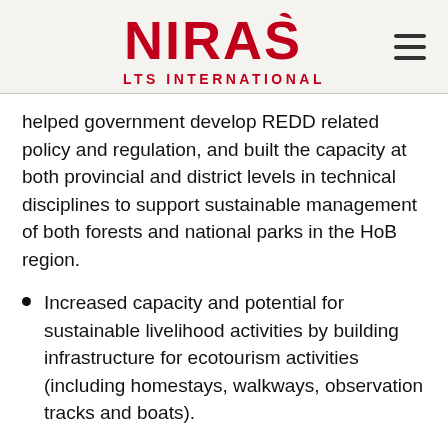NIRAS LTS INTERNATIONAL
helped government develop REDD related policy and regulation, and built the capacity at both provincial and district levels in technical disciplines to support sustainable management of both forests and national parks in the HoB region.
Increased capacity and potential for sustainable livelihood activities by building infrastructure for ecotourism activities (including homestays, walkways, observation tracks and boats).
Empowered local communities to apply new approaches to plan and manage their forests sustainably. The project has given communities access to international carbon and conservation